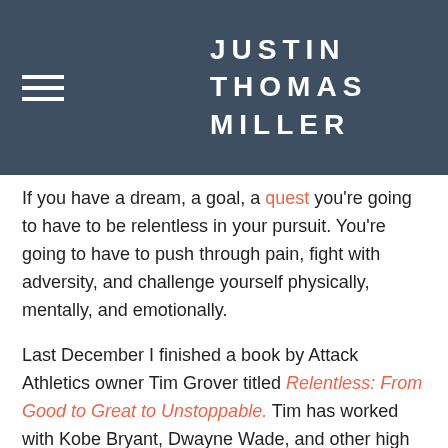JUSTIN THOMAS MILLER
If you have a dream, a goal, a quest you're going to have to be relentless in your pursuit. You're going to have to push through pain, fight with adversity, and challenge yourself physically, mentally, and emotionally.
Last December I finished a book by Attack Athletics owner Tim Grover titled Relentless: From Good to Great to Unstoppable. Tim has worked with Kobe Bryant, Dwayne Wade, and other high performing athletes that have excelled in their sport. He has also worked with athletes that have had all the physical gifts, talent, and ability but yet somehow found a way to underperform.